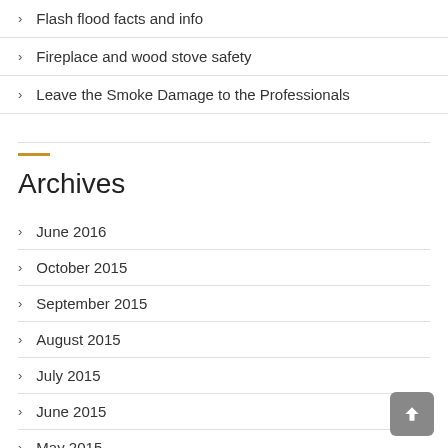Flash flood facts and info
Fireplace and wood stove safety
Leave the Smoke Damage to the Professionals
Archives
June 2016
October 2015
September 2015
August 2015
July 2015
June 2015
May 2015
April 2015